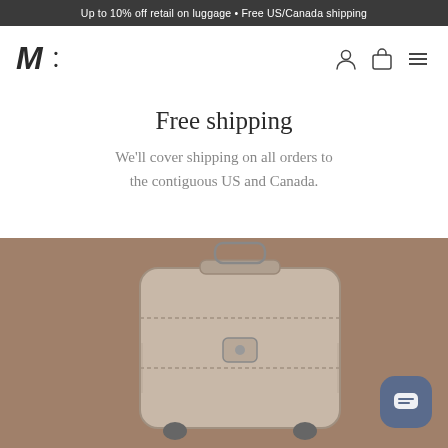Up to 10% off retail on luggage • Free US/Canada shipping
[Figure (logo): Italic M with colon dots — brand logo]
Free shipping
We'll cover shipping on all orders to the contiguous US and Canada.
[Figure (photo): Silver/champagne hard-shell luggage suitcase on warm brown background]